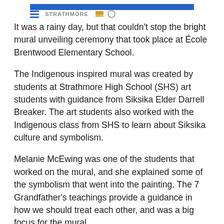STRATHMORE
It was a rainy day, but that couldn't stop the bright mural unveiling ceremony that took place at École Brentwood Elementary School.
The Indigenous inspired mural was created by students at Strathmore High School (SHS) art students with guidance from Siksika Elder Darrell Breaker. The art students also worked with the Indigenous class from SHS to learn about Siksika culture and symbolism.
Melanie McEwing was one of the students that worked on the mural, and she explained some of the symbolism that went into the painting. The 7 Grandfather's teachings provide a guidance in how we should treat each other, and was a big focus for the mural.
"Each teaching is represented by an animal and offers a gift and understanding of how we are. The buffalo represents